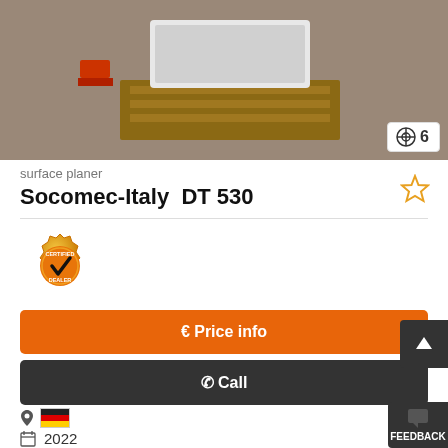[Figure (photo): Photo of a Socomec-Italy DT 530 surface planer machine on a wooden pallet on a concrete floor, with an image counter showing 6 photos]
surface planer
Socomec-Italy  DT 530
[Figure (logo): Certified Dealer badge - gold gear icon with checkmark and text CERTIFIED DEALER]
€ Price info
✆ Call
📍 🇩🇪 (location pin and German flag)
📅 2022
🔧 as good as new (ex-display)
FEEDBACK